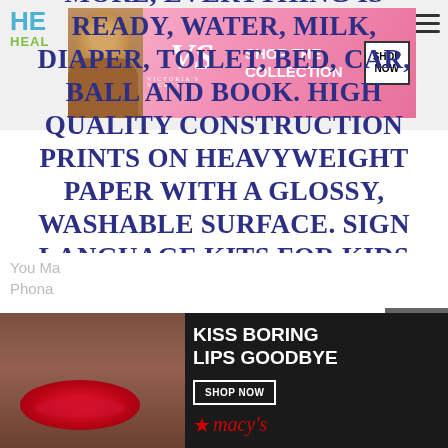HE / HEAL
[Figure (photo): Victoria's Secret advertisement banner with model, VS logo, 'SHOP THE COLLECTION' text and 'SHOP NOW' button]
MORE, EVERYTHING IS READY, WATER, MILK, DIAPER, TOILET, BED, CAR, BALL AND BOOK. HIGH QUALITY CONSTRUCTION PRINTS ON HEAVYWEIGHT PAPER WITH A GLOSSY, WASHABLE SURFACE. SIGN LANGUAGE KITS FOR KIDS CONTAIN EVERYTHING YOU NEED TO GET STARTED WITH SIGN LANGUAGE IN ONE BOX AT A GREAT PRICE.
You M
Phon
[Figure (photo): Macy's advertisement with 'KISS BORING LIPS GOODBYE' text, model with red lips, SHOP NOW button, and Macy's star logo]